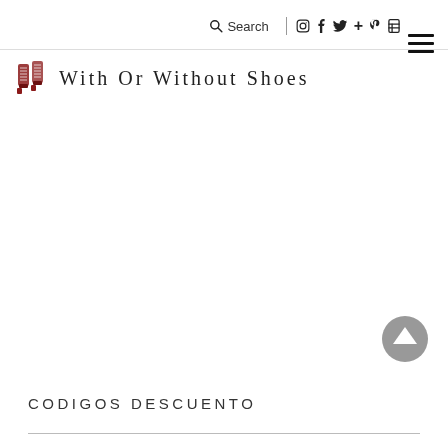Search | social icons (Instagram, Facebook, Twitter, +, Pinterest, bookmark) | hamburger menu
With Or Without Shoes
[Figure (illustration): Decorative high-heel boots logo icon for 'With Or Without Shoes' blog]
[Figure (illustration): Large white blank/empty content area (image placeholder or gallery area)]
[Figure (other): Grey circular scroll-to-top arrow button in bottom-right area]
CODIGOS DESCUENTO